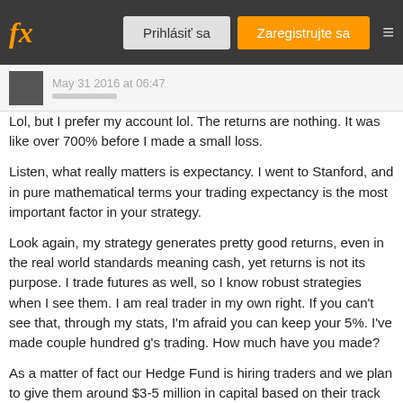fx  Prihlásiť sa  Zaregistrujte sa
May 31 2016 at 06:47
Lol, but I prefer my account lol. The returns are nothing. It was like over 700% before I made a small loss.
Listen, what really matters is expectancy. I went to Stanford, and in pure mathematical terms your trading expectancy is the most important factor in your strategy.
Look again, my strategy generates pretty good returns, even in the real world standards meaning cash, yet returns is not its purpose. I trade futures as well, so I know robust strategies when I see them. I am real trader in my own right. If you can't see that, through my stats, I'm afraid you can keep your 5%. I've made couple hundred g's trading. How much have you made?
As a matter of fact our Hedge Fund is hiring traders and we plan to give them around $3-5 million in capital based on their track records. But I'm sorry to say, with your attitude and especially your strategy, I must respectfully decline capitalizing it. Not worth it. I wasn't criticizing, I just wanted to hear what you had to say. But based on your answer seems you can take your strategies and put all your money where your mouth is and just go all out. Because It looks like the holy grail to me~~ Lolol